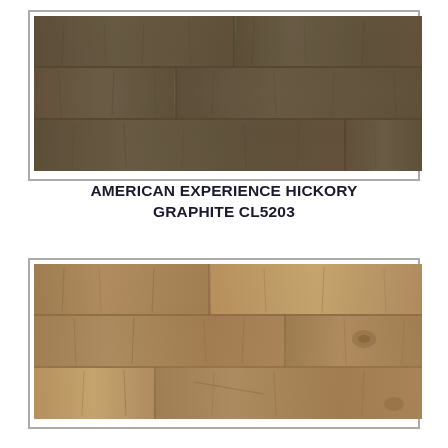[Figure (photo): Close-up photo of American Experience Hickory Graphite hardwood flooring (CL5203) showing dark brown/graphite toned wood planks with natural grain patterns, displayed in a gray border frame.]
AMERICAN EXPERIENCE HICKORY GRAPHITE CL5203
[Figure (photo): Close-up photo of a lighter brown hardwood flooring product showing warm caramel/brown wood planks with natural grain, knots, and figure patterns, displayed in a gray border frame.]